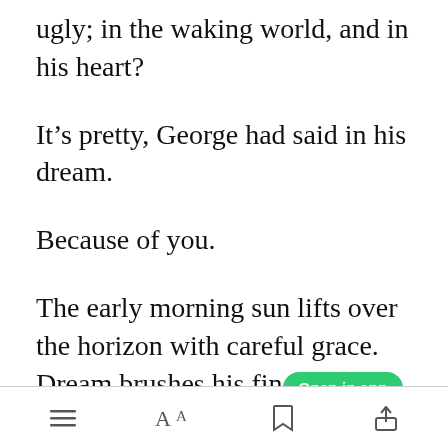ugly; in the waking world, and in his heart?
It’s pretty, George had said in his dream.
Because of you.
The early morning sun lifts over the horizon with careful grace. Dream brushes his fingertips over his nose
[Figure (screenshot): Green 'Open in app' button overlay]
Toolbar with menu, font size, bookmark, and share icons